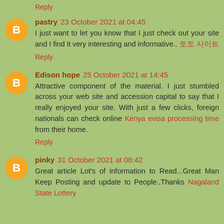Reply
pastry 23 October 2021 at 04:45
I just want to let you know that I just check out your site and I find it very interesting and informative.. 토토 사이트
Reply
Edison hope 25 October 2021 at 14:45
Attractive component of the material. I just stumbled across your web site and accession capital to say that I really enjoyed your site. With just a few clicks, foreign nationals can check online Kenya evisa processing time from their home.
Reply
pinky 31 October 2021 at 08:42
Great article Lot's of information to Read...Great Man Keep Posting and update to People..Thanks Nagaland State Lottery